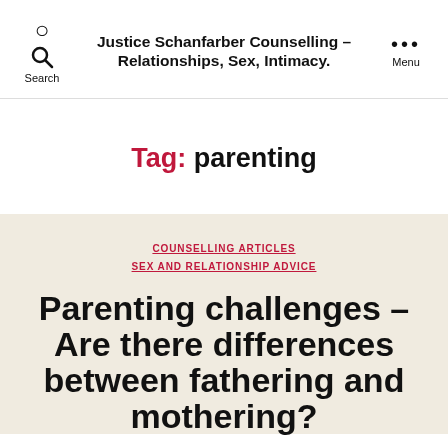Justice Schanfarber Counselling – Relationships, Sex, Intimacy.
Tag: parenting
COUNSELLING ARTICLES
SEX AND RELATIONSHIP ADVICE
Parenting challenges – Are there differences between fathering and mothering?